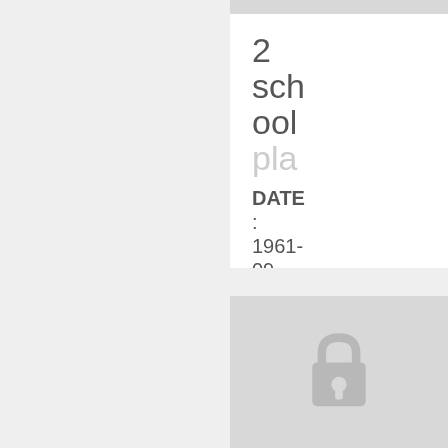2 school pla
DATE : 1961-09-07
[Figure (other): Lock icon indicating restricted/classified content on a grey background]